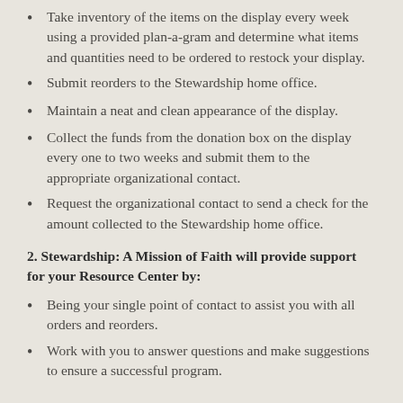Take inventory of the items on the display every week using a provided plan-a-gram and determine what items and quantities need to be ordered to restock your display.
Submit reorders to the Stewardship home office.
Maintain a neat and clean appearance of the display.
Collect the funds from the donation box on the display every one to two weeks and submit them to the appropriate organizational contact.
Request the organizational contact to send a check for the amount collected to the Stewardship home office.
2. Stewardship: A Mission of Faith will provide support for your Resource Center by:
Being your single point of contact to assist you with all orders and reorders.
Work with you to answer questions and make suggestions to ensure a successful program.